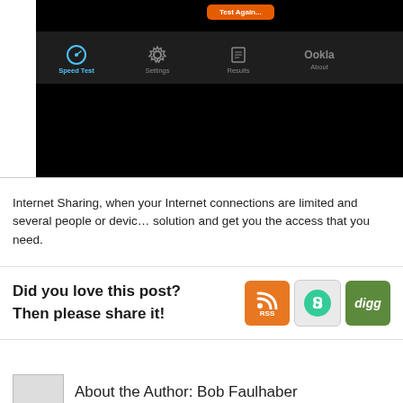[Figure (screenshot): Screenshot of a mobile speed test app (Speedtest by Ookla) showing the app navigation bar with Speed Test, Settings, Results, and About tabs on a black background]
Internet Sharing, when your Internet connections are limited and several people or devices need access, can be a great solution and get you the access that you need.
Did you love this post?
Then please share it!
[Figure (logo): RSS feed icon (orange)]
[Figure (logo): StumbleUpon icon (green on grey)]
[Figure (logo): Digg icon (green with italic 'digg')]
About the Author: Bob Faulhaber